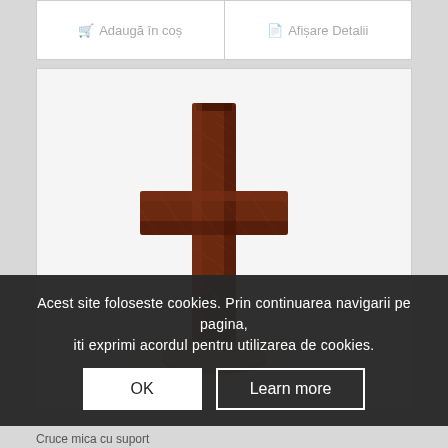[Figure (screenshot): Partial product card buttons: 'Adaugă în coș' (Add to cart) and 'Afișare Detalii' (View Details) buttons in light gray]
[Figure (photo): Photo of a small wooden cross with a round base/support, dark reddish-brown color, on a white background]
Acest site foloseste cookies. Prin continuarea navigarii pe pagina, iti exprimi acordul pentru utilizarea de cookies.
OK
Learn more
Cruce mica cu suport